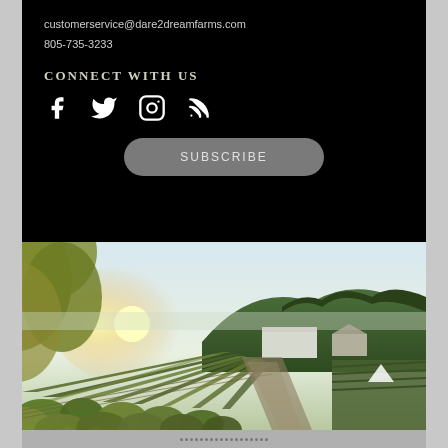customerservice@dare2dreamfarms.com
805-735-3233
CONNECT WITH US
[Figure (infographic): Social media icons: Facebook, Twitter, Instagram, RSS feed]
SUBSCRIBE
[Figure (photo): Aerial view of a farm with rows of crops, greenhouse structures, hills and trees in background with sunlight]